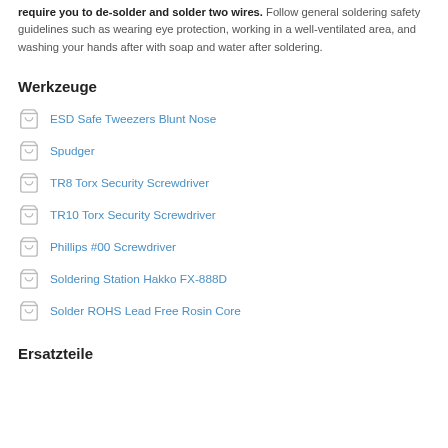require you to de-solder and solder two wires. Follow general soldering safety guidelines such as wearing eye protection, working in a well-ventilated area, and washing your hands after with soap and water after soldering.
Werkzeuge
ESD Safe Tweezers Blunt Nose
Spudger
TR8 Torx Security Screwdriver
TR10 Torx Security Screwdriver
Phillips #00 Screwdriver
Soldering Station Hakko FX-888D
Solder ROHS Lead Free Rosin Core
Ersatzteile